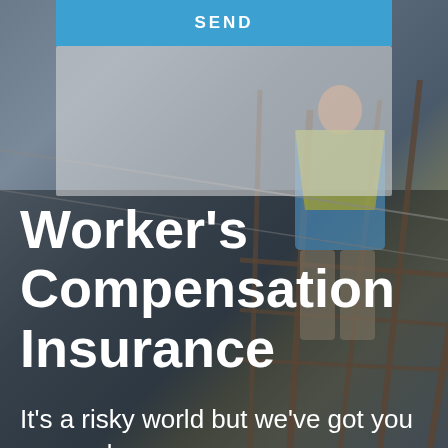SEND
[Figure (photo): Construction worker in safety harness climbing steel rebar scaffolding, photographed from below against a grey sky background.]
Worker's Compensation Insurance
It's a risky world but we've got you covered.
We know the unexpected and accidents happen and that's why it is important to understand your